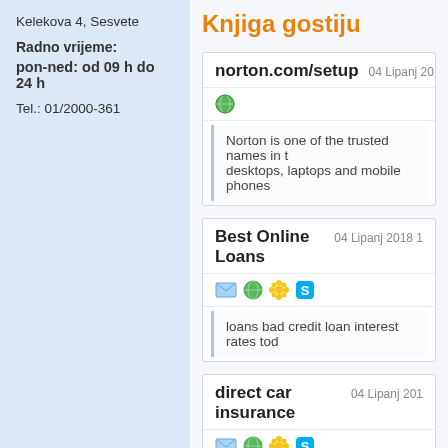Kelekova 4, Sesvete
Radno vrijeme:
pon-ned: od 09 h do 24 h
Tel.: 01/2000-361
Knjiga gostiju
norton.com/setup   04 Lipanj 2018 14
Norton is one of the trusted names in desktops, laptops and mobile phones
Best Online Loans   04 Lipanj 2018
loans bad credit loan interest rates tod
direct car insurance   04 Lipanj 201